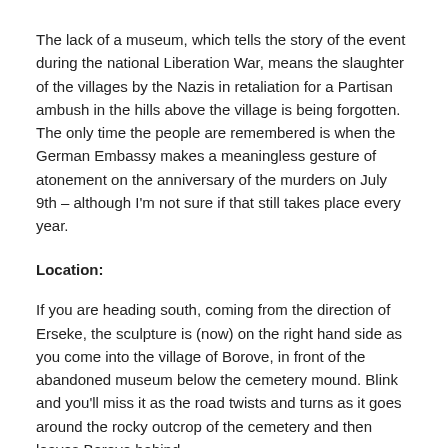The lack of a museum, which tells the story of the event during the national Liberation War, means the slaughter of the villages by the Nazis in retaliation for a Partisan ambush in the hills above the village is being forgotten. The only time the people are remembered is when the German Embassy makes a meaningless gesture of atonement on the anniversary of the murders on July 9th – although I'm not sure if that still takes place every year.
Location:
If you are heading south, coming from the direction of Erseke, the sculpture is (now) on the right hand side as you come into the village of Borove, in front of the abandoned museum below the cemetery mound. Blink and you'll miss it as the road twists and turns as it goes around the rocky outcrop of the cemetery and then leaves Borove behind.
GPS: